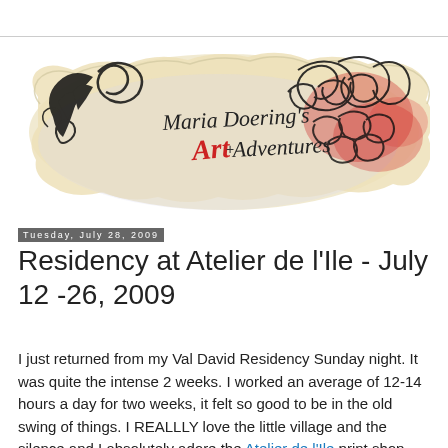[Figure (illustration): Decorative blog header illustration: 'Maria Doering's Art Adventures' hand-lettered title surrounded by ornate black ink flourishes, swirling patterns, and red accents on a cream/beige torn paper background.]
Tuesday, July 28, 2009
Residency at Atelier de l'Ile - July 12 -26, 2009
I just returned from my Val David Residency Sunday night. It was quite the intense 2 weeks. I worked an average of 12-14 hours a day for two weeks, it felt so good to be in the old swing of things. I REALLLY love the little village and the silence and I absolutely adore the Atelier de l'Ile print shop